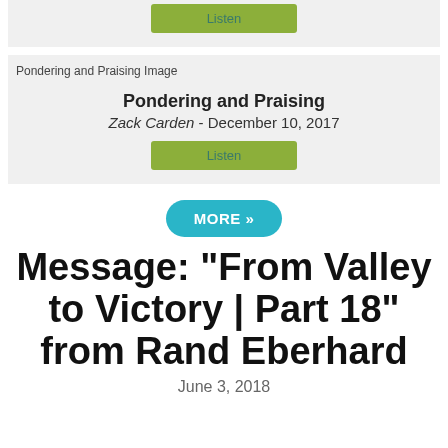[Figure (screenshot): Green Listen button at top of page]
[Figure (screenshot): Pondering and Praising Image placeholder]
Pondering and Praising
Zack Carden - December 10, 2017
[Figure (screenshot): Green Listen button]
MORE »
Message: “From Valley to Victory | Part 18” from Rand Eberhard
June 3, 2018